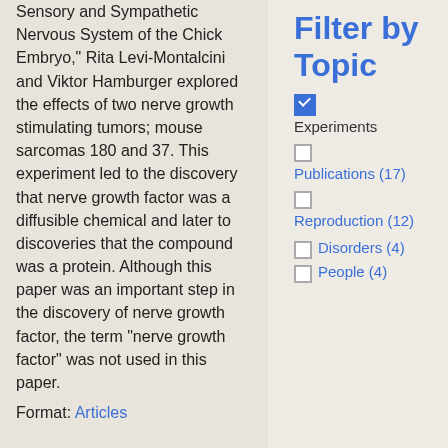Sensory and Sympathetic Nervous System of the Chick Embryo," Rita Levi-Montalcini and Viktor Hamburger explored the effects of two nerve growth stimulating tumors; mouse sarcomas 180 and 37. This experiment led to the discovery that nerve growth factor was a diffusible chemical and later to discoveries that the compound was a protein. Although this paper was an important step in the discovery of nerve growth factor, the term "nerve growth factor" was not used in this paper.
Format: Articles
Filter by Topic
[checked] Experiments
[unchecked] Publications (17)
[unchecked] Reproduction (12)
[unchecked] Disorders (4)
[unchecked] People (4)